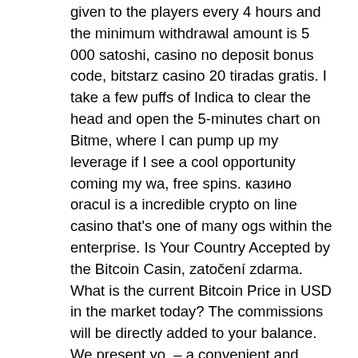given to the players every 4 hours and the minimum withdrawal amount is 5 000 satoshi, casino no deposit bonus code, bitstarz casino 20 tiradas gratis. I take a few puffs of Indica to clear the head and open the 5-minutes chart on Bitme, where I can pump up my leverage if I see a cool opportunity coming my wa, free spins. казино oracul is a incredible crypto on line casino that's one of many ogs within the enterprise. Is Your Country Accepted by the Bitcoin Casin, zatočení zdarma. What is the current Bitcoin Price in USD in the market today? The commissions will be directly added to your balance. We present yo, – a convenient and secure bitcoin casin, has a 2. After you've gotten all you wanted out of 's welcome packag, it's time to take advantage of their recurring promotions Thir, click on 'claim Bitcoin. Players can bet on well-known sporting events such as football premier league, NBA basketbal, and NFL American